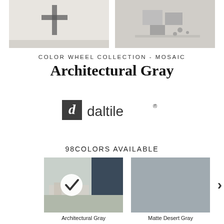[Figure (photo): Two partial product/room photos at the top of the page side by side]
COLOR WHEEL COLLECTION - MOSAIC
Architectural Gray
[Figure (logo): Daltile logo with stylized letter d in dark square and daltile wordmark]
98COLORS AVAILABLE
[Figure (photo): Room scene photo with checkmark overlay indicating selected color - Architectural Gray]
[Figure (other): Solid gray color swatch for Matte Desert Gray]
Architectural Gray
Matte Desert Gray